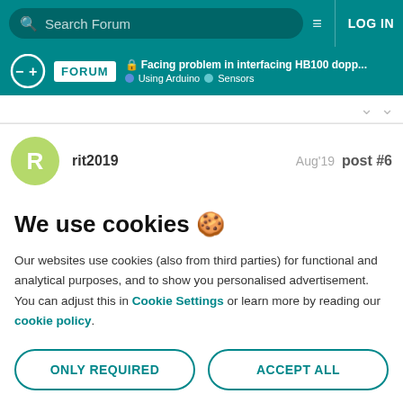Search Forum | LOG IN
🔒 Facing problem in interfacing HB100 dopp... | Using Arduino | Sensors
rit2019 Aug'19 post #6
We use cookies 🍪
Our websites use cookies (also from third parties) for functional and analytical purposes, and to show you personalised advertisement. You can adjust this in Cookie Settings or learn more by reading our cookie policy.
ONLY REQUIRED | ACCEPT ALL